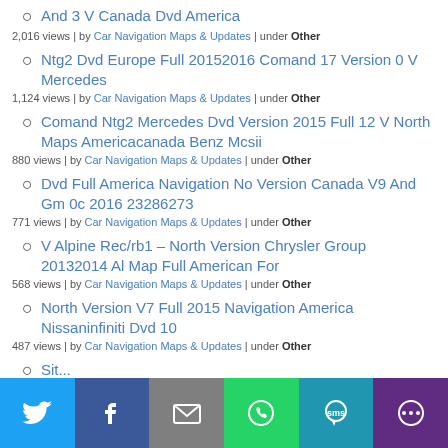And 3 V Canada Dvd America
2,016 views | by Car Navigation Maps & Updates | under Other
Ntg2 Dvd Europe Full 20152016 Comand 17 Version 0 V Mercedes
1,124 views | by Car Navigation Maps & Updates | under Other
Comand Ntg2 Mercedes Dvd Version 2015 Full 12 V North Maps Americacanada Benz Mcsii
880 views | by Car Navigation Maps & Updates | under Other
Dvd Full America Navigation No Version Canada V9 And Gm 0c 2016 23286273
771 views | by Car Navigation Maps & Updates | under Other
V Alpine Rec/rb1 – North Version Chrysler Group 20132014 Al Map Full American For
568 views | by Car Navigation Maps & Updates | under Other
North Version V7 Full 2015 Navigation America Nissaninfiniti Dvd 10
487 views | by Car Navigation Maps & Updates | under Other
[Figure (infographic): Social sharing bar with Twitter, Facebook, Email, WhatsApp, SMS, and More buttons]